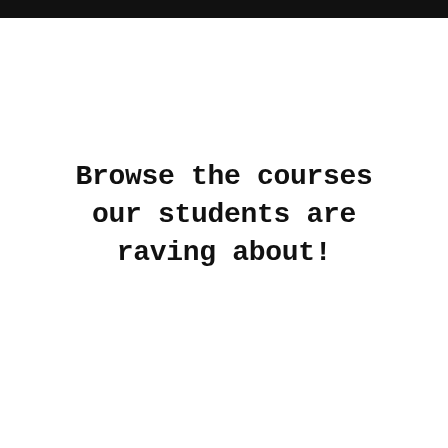Browse the courses our students are raving about!